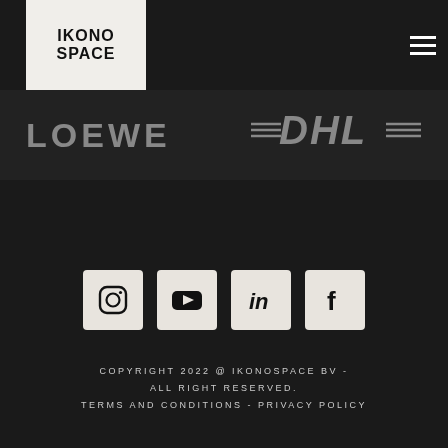IKONO SPACE
[Figure (logo): LOEWE brand logo in grey uppercase letters]
[Figure (logo): DHL logo in grey italic letters with horizontal lines]
[Figure (infographic): Social media icons: Instagram, YouTube, LinkedIn, Facebook — white icons on light beige square backgrounds]
COPYRIGHT 2022 @ IKONOSPACE BV - ALL RIGHT RESERVED. TERMS AND CONDITIONS - PRIVACY POLICY